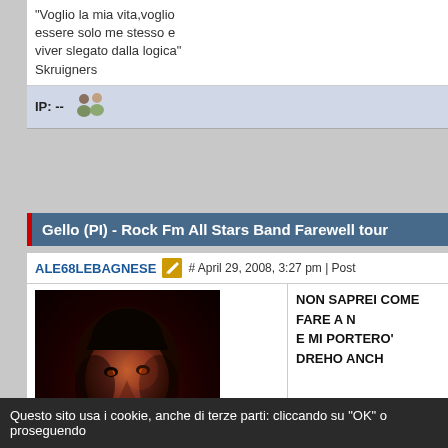“Voglio la mia vita,voglio essere solo me stesso e viver slegato dalla logica” Skruigners
IP: --
Gello (PI) - Rock Fm All Stars Band Farewell tour
ALE68LEBAGNESE # April 29, 2008, 3:27 pm | Post
[Figure (photo): Dark photo of a person's face with dramatic lighting, menacing expression]
Group: Member
Post Group: Super Member
Posts: 1798
Thanked: 324 times
NON SAPREI COME FARE A N E MI PORTERO' DREHO ANC
----------------------
CORNA AL CIELO E FOTTUTO
PATENTE DA VERO ROCKER FLOG A FIRENZE
Questo sito usa i cookie, anche di terze parti: cliccando su "OK" o proseguendo